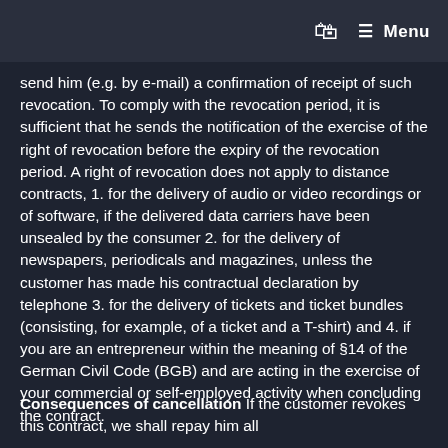Menu
send him (e.g. by e-mail) a confirmation of receipt of such revocation. To comply with the revocation period, it is sufficient that he sends the notification of the exercise of the right of revocation before the expiry of the revocation period. A right of revocation does not apply to distance contracts, 1. for the delivery of audio or video recordings or of software, if the delivered data carriers have been unsealed by the consumer 2. for the delivery of newspapers, periodicals and magazines, unless the customer has made his contractual declaration by telephone 3. for the delivery of tickets and ticket bundles (consisting, for example, of a ticket and a T-shirt) and 4. if you are an entrepreneur within the meaning of §14 of the German Civil Code (BGB) and are acting in the exercise of your commercial or self-employed activity when concluding the contract.
Consequences of cancellation If the customer revokes this contract, we shall repay him all